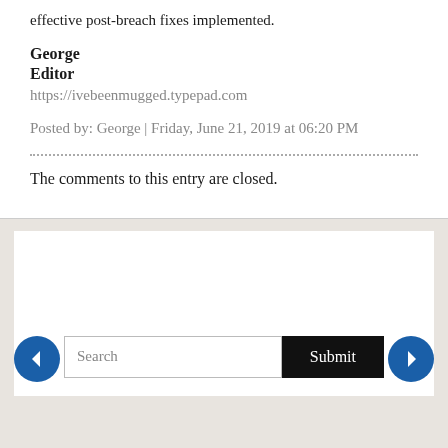effective post-breach fixes implemented.
George
Editor
https://ivebeenmugged.typepad.com
Posted by: George | Friday, June 21, 2019 at 06:20 PM
The comments to this entry are closed.